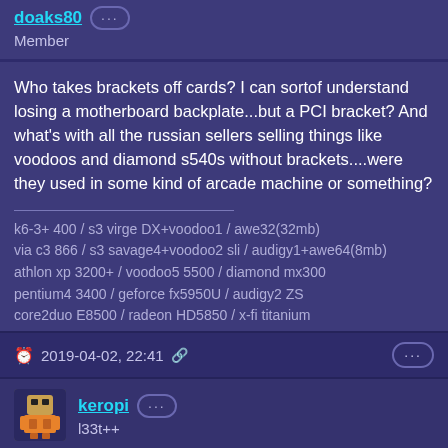doaks80
Member
Who takes brackets off cards? I can sortof understand losing a motherboard backplate...but a PCI bracket? And what's with all the russian sellers selling things like voodoos and diamond s540s without brackets....were they used in some kind of arcade machine or something?
k6-3+ 400 / s3 virge DX+voodoo1 / awe32(32mb)
via c3 866 / s3 savage4+voodoo2 sli / audigy1+awe64(8mb)
athlon xp 3200+ / voodoo5 5500 / diamond mx300
pentium4 3400 / geforce fx5950U / audigy2 ZS
core2duo E8500 / radeon HD5850 / x-fi titanium
2019-04-02, 22:41
keropi
l33t++